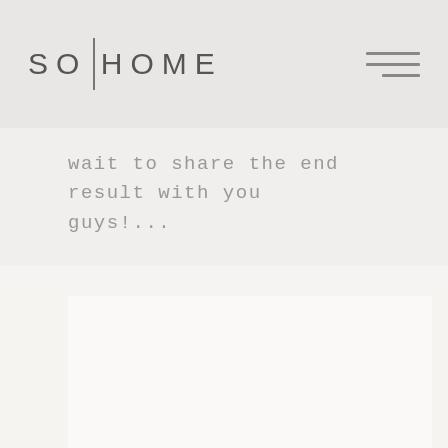SO|HOME
wait to share the end result with you guys!...
[Figure (photo): Large blank/white image placeholder area below the text content]